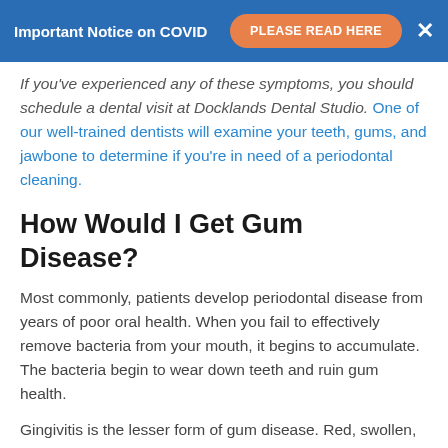Important Notice on COVID  PLEASE READ HERE  ×
If you've experienced any of these symptoms, you should schedule a dental visit at Docklands Dental Studio. One of our well-trained dentists will examine your teeth, gums, and jawbone to determine if you're in need of a periodontal cleaning.
How Would I Get Gum Disease?
Most commonly, patients develop periodontal disease from years of poor oral health. When you fail to effectively remove bacteria from your mouth, it begins to accumulate. The bacteria begin to wear down teeth and ruin gum health.
Gingivitis is the lesser form of gum disease. Red, swollen, tender, bleeding gums appear in this stage. A common side effect of gingivitis is untreatable bad